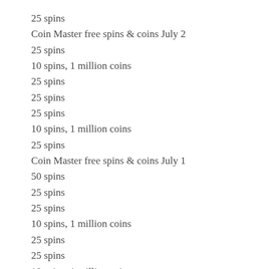25 spins
Coin Master free spins & coins July 2
25 spins
10 spins, 1 million coins
25 spins
25 spins
25 spins
10 spins, 1 million coins
25 spins
Coin Master free spins & coins July 1
50 spins
25 spins
25 spins
10 spins, 1 million coins
25 spins
25 spins
10 spins, 1 million coins